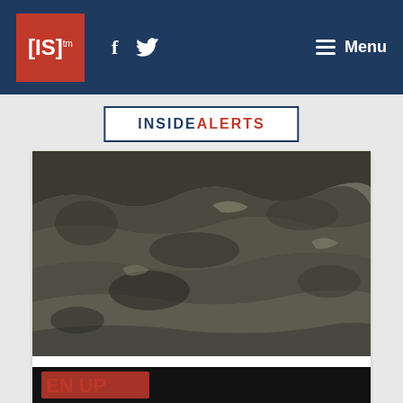[IS]™  f  🐦  Menu
INSIDEALERTS
[Figure (photo): Close-up photograph of dark rocky or mineral surface with layered, textured formations]
[IS] OPINIONS  Politics
U.S. Energy Security and Climate Action Rest on Mining READ MORE
[Figure (photo): Partially visible image with dark background and red/orange text partially visible at bottom of page]